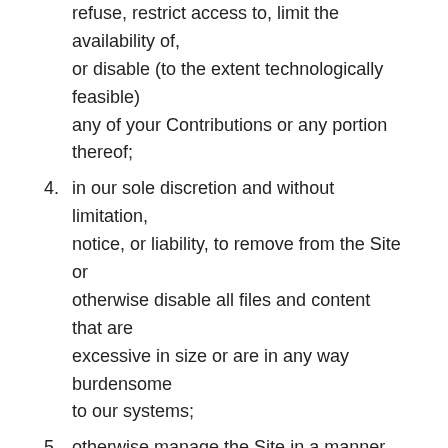refuse, restrict access to, limit the availability of, or disable (to the extent technologically feasible) any of your Contributions or any portion thereof;
4. in our sole discretion and without limitation, notice, or liability, to remove from the Site or otherwise disable all files and content that are excessive in size or are in any way burdensome to our systems;
5. otherwise manage the Site in a manner designed to protect our rights and property and to facilitate the proper functioning of the Site.
Privacy Policy
We care about data privacy and security. Please review our Privacy Policy. By using the Site, you agree to be